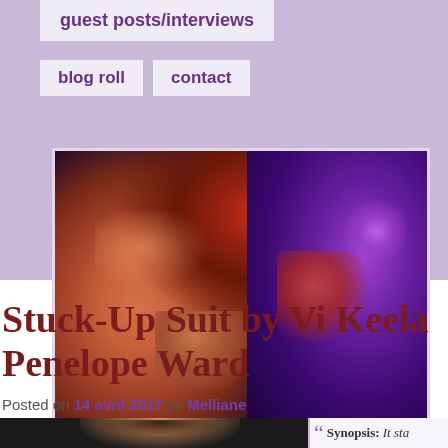guest posts/interviews
blog roll   contact
[Figure (photo): Banner image of a woman with red/auburn hair against a dark purple background with glowing colored highlights]
Stuck-Up Suit by Vi Keela Penelope Ward
Posted on 14 avril 2017 by Melliane
[Figure (photo): Dark portrait of a man's face from above, partially visible at bottom of page]
Synopsis: It sta